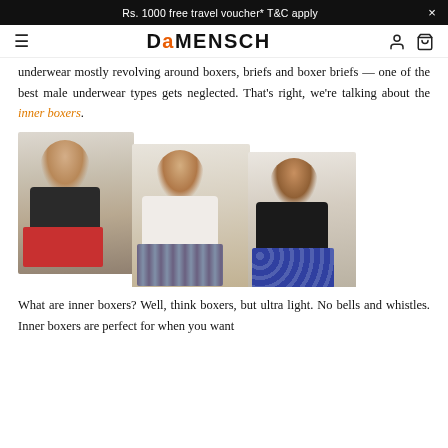Rs. 1000 free travel voucher* T&C apply
DaMENSCH
underwear mostly revolving around boxers, briefs and boxer briefs — one of the best male underwear types gets neglected. That's right, we're talking about the inner boxers.
[Figure (photo): Three photos of men wearing boxer shorts in different settings — one at a typewriter wearing red boxers, one on a chair talking on an orange telephone wearing patterned boxers, and one sitting on the floor reading a book wearing blue printed boxers.]
What are inner boxers? Well, think boxers, but ultra light. No bells and whistles. Inner boxers are perfect for when you want